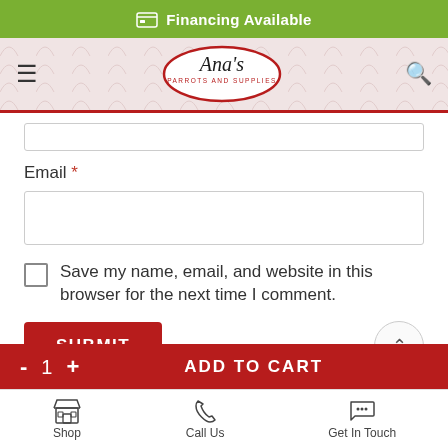Financing Available
[Figure (logo): Ana's Parrots and Supplies oval logo with script text]
Email *
Save my name, email, and website in this browser for the next time I comment.
SUBMIT
- 1 + ADD TO CART
Shop   Call Us   Get In Touch